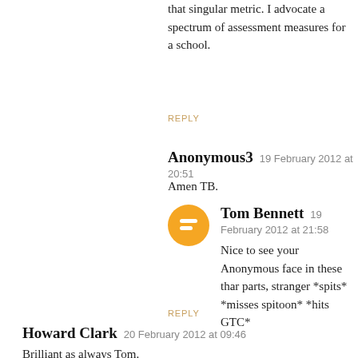that singular metric. I advocate a spectrum of assessment measures for a school.
REPLY
Anonymous3   19 February 2012 at 20:51
Amen TB.
Tom Bennett   19 February 2012 at 21:58
Nice to see your Anonymous face in these thar parts, stranger *spits* *misses spitoon* *hits GTC*
REPLY
Howard Clark   20 February 2012 at 09:46
Brilliant as always Tom.
For me the important bits in here are context and the children centred decision...